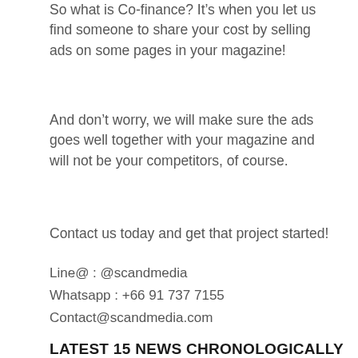So what is Co-finance? It's when you let us find someone to share your cost by selling ads on some pages in your magazine!
And don't worry, we will make sure the ads goes well together with your magazine and will not be your competitors, of course.
Contact us today and get that project started!
Line@ : @scandmedia
Whatsapp : +66 91 737 7155
Contact@scandmedia.com
LATEST 15 NEWS CHRONOLOGICALLY
Information for Danes driving in the Philippines